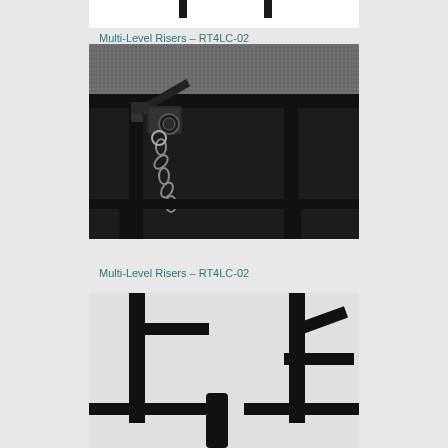[Figure (photo): Partial view of multi-level risers product - top portion cut off, white background]
Multi-Level Risers – RT4LC-02
[Figure (photo): Close-up photo of a black metal riser frame joint/connector with a chain safety pin mechanism and textured grey surface platform visible at top]
Multi-Level Risers – RT4LC-02
[Figure (photo): Partial view of black metal multi-level riser frame structure showing vertical and horizontal tubular legs, bottom portion of product]